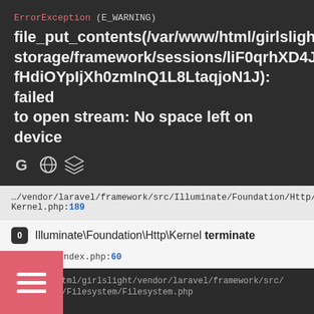ErrorException (E_WARNING)
file_put_contents(/var/www/html/girlslight/storage/framework/sessions/liF0qrhXD4JfHdiOYpIjXh0zmInQ1L8LtaqjoN1J): failed to open stream: No space left on device
[Figure (other): Share icons: Google, globe/privacy, stack overflow]
…/vendor/laravel/framework/src/Illuminate/Foundation/Http/Kernel.php:189
0  Illuminate\Foundation\Http\Kernel terminate
…/public/index.php:60
/var/www/html/girlslight/vendor/laravel/framework/src/Illuminate/Filesystem/Filesystem.php
/**
 * Write the contents of a file.
 *
 * @param  string  $path
 * @param  string  $contents
 * @param  bool  $lock
 * @return int